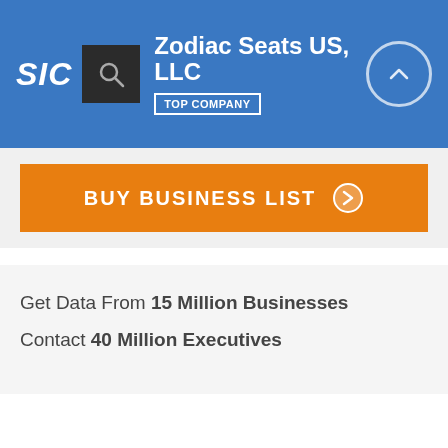SIC | Zodiac Seats US, LLC | TOP COMPANY
[Figure (screenshot): Orange button with text BUY BUSINESS LIST and arrow icon]
Get Data From 15 Million Businesses
Contact 40 Million Executives